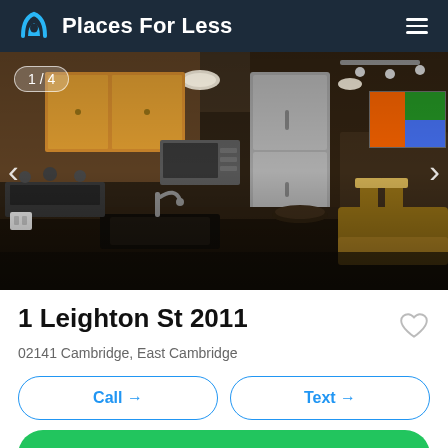Places For Less
[Figure (photo): Interior photo of a modern apartment kitchen with stainless steel appliances, dark granite countertop with sink, wooden cabinets, and a dining area visible in the background. Image counter shows 1/4.]
1 Leighton St 2011
02141 Cambridge, East Cambridge
Call →
Text →
Reach out →